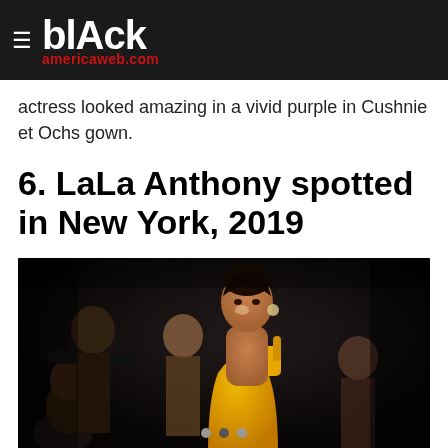≡ blAck americaweb.com
actress looked amazing in a vivid purple in Cushnie et Ochs gown.
6. LaLa Anthony spotted in New York, 2019
[Figure (photo): LaLa Anthony smiling, wearing a yellow/orange dress, photographed outdoors at night in New York. Other people visible in the background, one wearing a wide-brimmed hat.]